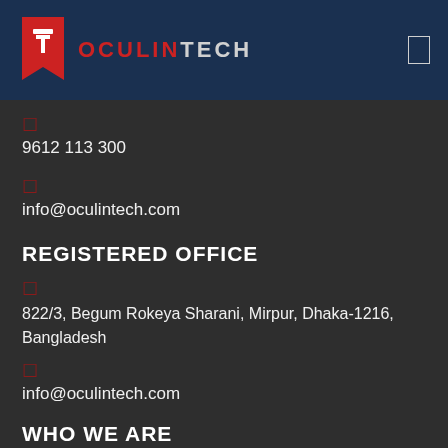[Figure (logo): OculinTech logo with red bookmark/flag icon and OCULIN in red, TECH in white/grey on dark blue header bar]
9612 113 300
info@oculintech.com
REGISTERED OFFICE
822/3, Begum Rokeya Sharani, Mirpur, Dhaka-1216, Bangladesh
info@oculintech.com
WHO WE ARE
HOME